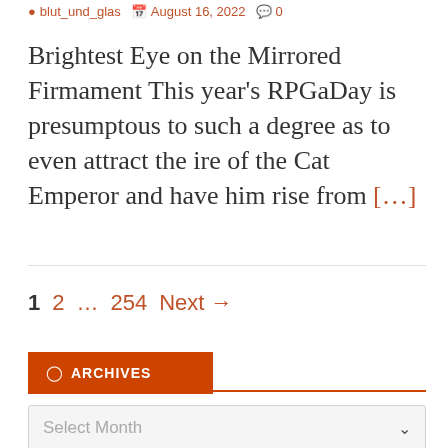blut_und_glas  August 16, 2022  0
Brightest Eye on the Mirrored Firmament This year's RPGaDay is presumptous to such a degree as to even attract the ire of the Cat Emperor and have him rise from [...]
1  2  …  254  Next →
ARCHIVES
Select Month